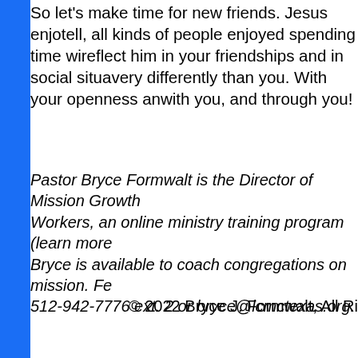So let's make time for new friends. Jesus enjoyed tell, all kinds of people enjoyed spending time with reflect him in your friendships and in social situations very differently than you. With your openness and with you, and through you!
Pastor Bryce Formwalt is the Director of Mission Growth Workers, an online ministry training program (learn more Bryce is available to coach congregations on mission. Fe 512-942-7776 ext. 2 or bryce@lcmctexas.org.
© 2022 Bryce J. Formwalt, All Ri